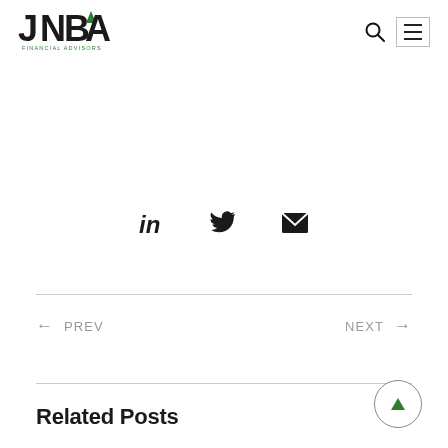[Figure (logo): JNBA Financial Advisors logo — large bold black letters JNBA with a small green triangle/arrow above the A, and 'FINANCIAL ADVISORS' in small spaced green text below]
[Figure (infographic): Three social sharing icons in a row: LinkedIn (in), Twitter bird, Email envelope]
← PREV
NEXT →
Related Posts